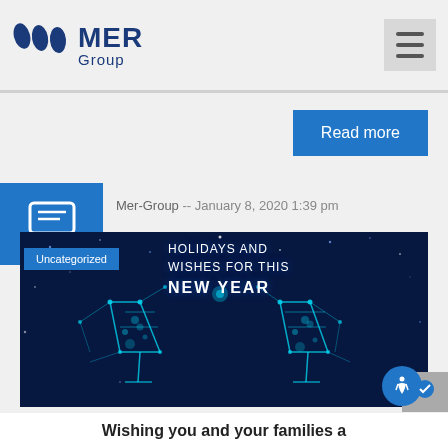MER Group
Read more
Mer-Group  --  January 8, 2020 1:39 pm
[Figure (photo): Holiday wishes image with blue glowing champagne glasses on dark navy background with text HOLIDAYS AND WISHES FOR THIS NEW YEAR and Uncategorized badge overlay]
Wishing you and your families a